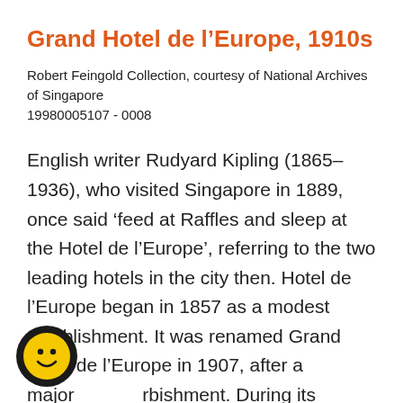Grand Hotel de l’Europe, 1910s
Robert Feingold Collection, courtesy of National Archives of Singapore
19980005107 - 0008
English writer Rudyard Kipling (1865–1936), who visited Singapore in 1889, once said ‘feed at Raffles and sleep at the Hotel de l’Europe’, referring to the two leading hotels in the city then. Hotel de l’Europe began in 1857 as a modest establishment. It was renamed Grand Hotel de l’Europe in 1907, after a major refurbishment. During its heyday, it rivalled the Raffles Hotel in terms of luxury and